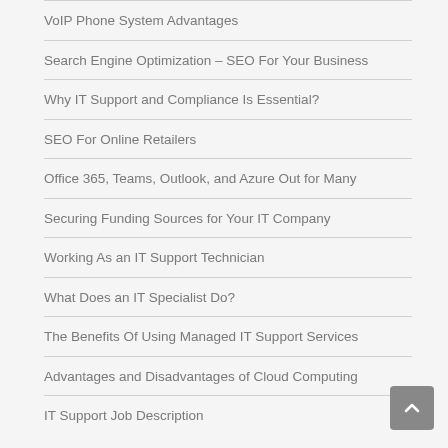VoIP Phone System Advantages
Search Engine Optimization – SEO For Your Business
Why IT Support and Compliance Is Essential?
SEO For Online Retailers
Office 365, Teams, Outlook, and Azure Out for Many
Securing Funding Sources for Your IT Company
Working As an IT Support Technician
What Does an IT Specialist Do?
The Benefits Of Using Managed IT Support Services
Advantages and Disadvantages of Cloud Computing
IT Support Job Description